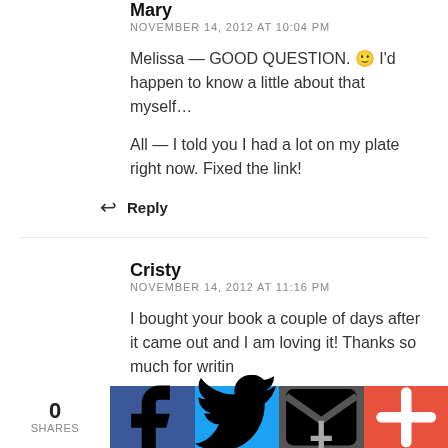Mary
NOVEMBER 14, 2012 AT 10:04 PM
Melissa — GOOD QUESTION. 🙂 I'd happen to know a little about that myself…
All — I told you I had a lot on my plate right now. Fixed the link!
Reply
Cristy
NOVEMBER 14, 2012 AT 11:16 PM
I bought your book a couple of days after it came out and I am loving it! Thanks so much for writin…
0 SHARES